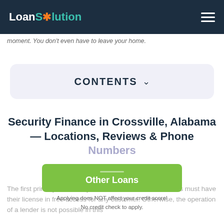LoanSolution
moment. You don't even have to leave your home.
CONTENTS
Security Finance in Crossville, Alabama — Locations, Reviews & Phone Numbers
[Figure (other): Green button overlay with text 'Other Loans' and credit note]
The first primary condition you have to know is that lenders must have their license in free access for any customer. Otherwise, the operation of a lender is not possible in this